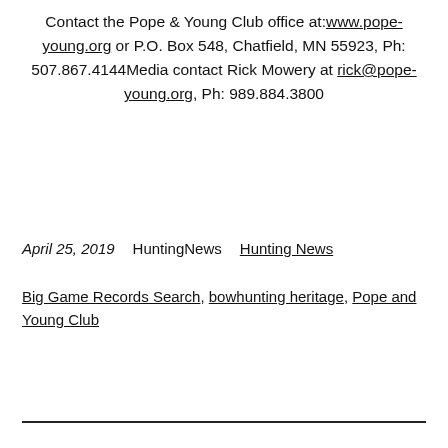Contact the Pope & Young Club office at:www.pope-young.org or P.O. Box 548, Chatfield, MN 55923, Ph: 507.867.4144Media contact Rick Mowery at rick@pope-young.org, Ph: 989.884.3800
April 25, 2019    HuntingNews    Hunting News
Big Game Records Search, bowhunting heritage, Pope and Young Club